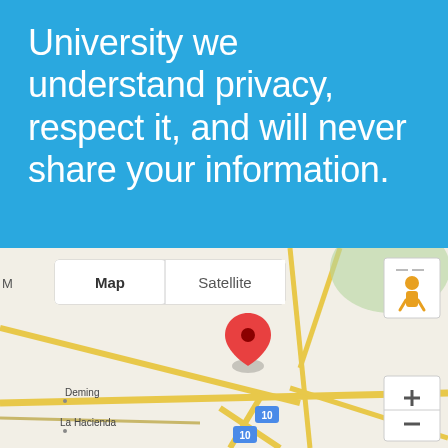University we understand privacy, respect it, and will never share your information.
[Figure (map): Google Maps screenshot showing Las Cruces, NM area with a red location pin on Las Cruces, showing nearby Deming, La Hacienda, White Sands, highway 70, 10, and 54 markers. Map/Satellite toggle buttons visible in top left. Zoom controls and Street View pegman on right side.]